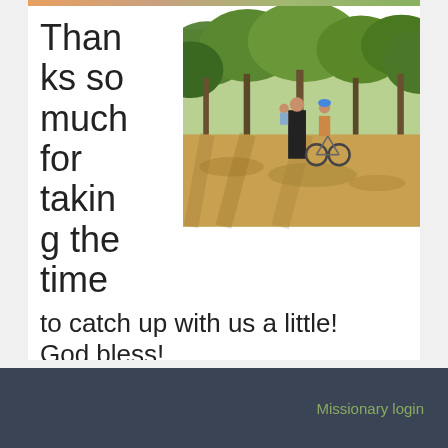[Figure (photo): Photo of a man holding a baby and walking next to a child on a bicycle in a park with trees and dappled light on dry grass ground]
Thanks so much for taking the time to catch up with us a little! God bless! Love, The Aristas
News
Missionary login